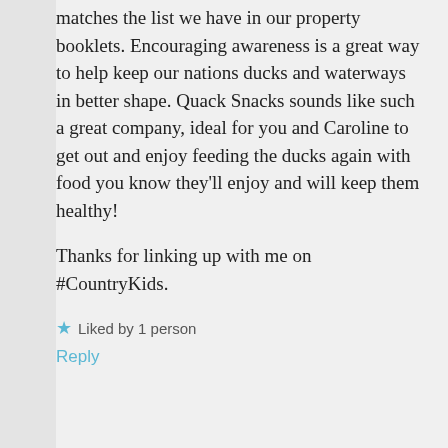matches the list we have in our property booklets. Encouraging awareness is a great way to help keep our nations ducks and waterways in better shape. Quack Snacks sounds like such a great company, ideal for you and Caroline to get out and enjoy feeding the ducks again with food you know they'll enjoy and will keep them healthy!
Thanks for linking up with me on #CountryKids.
★ Liked by 1 person
Reply